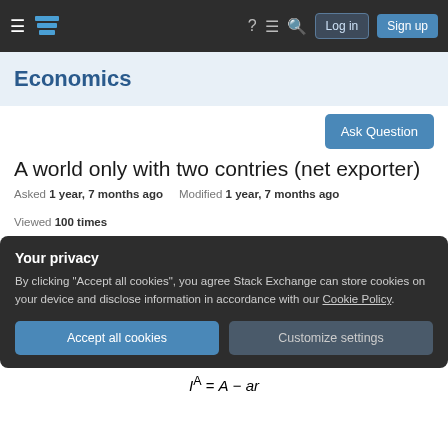Economics Stack Exchange — Log in Sign up
Economics
Ask Question
A world only with two contries (net exporter)
Asked 1 year, 7 months ago   Modified 1 year, 7 months ago   Viewed 100 times
Your privacy
By clicking "Accept all cookies", you agree Stack Exchange can store cookies on your device and disclose information in accordance with our Cookie Policy.
Accept all cookies   Customize settings